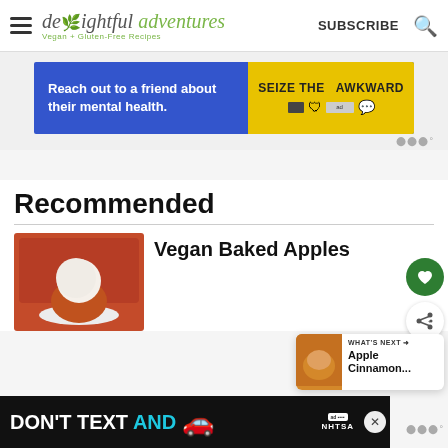delightful adventures — Vegan + Gluten-Free Recipes — SUBSCRIBE
[Figure (screenshot): Advertisement banner: blue background with text 'Reach out to a friend about their mental health.' and yellow box reading 'SEIZE THE AWKWARD']
Recommended
[Figure (photo): Photo of a vegan baked apple with a scoop of white ice cream on top, in a red baking dish]
Vegan Baked Apples
[Figure (screenshot): What's Next popup showing 'Apple Cinnamon...' with a small food photo]
[Figure (screenshot): Bottom advertisement: black background with text 'DON'T TEXT AND' with a red car emoji and NHTSA badge]